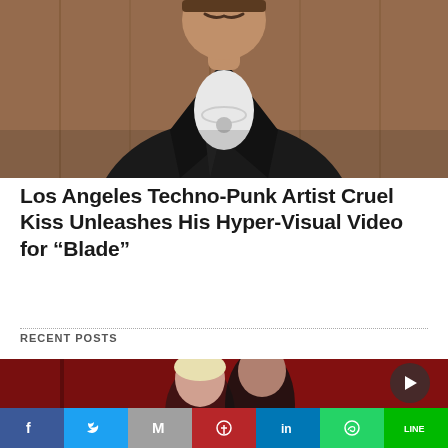[Figure (photo): Man with mustache wearing open black leather jacket with chain necklace, standing against wooden background]
Los Angeles Techno-Punk Artist Cruel Kiss Unleashes His Hyper-Visual Video for “Blade”
RECENT POSTS
[Figure (photo): Two people against a red background, a woman with short blonde hair and heavy eye makeup in front, a man behind her, with a dark circular play button overlay in top right]
[Figure (other): Social sharing bar with icons: Facebook, Twitter, Gmail/Email, Pinterest, LinkedIn, WhatsApp, LINE]